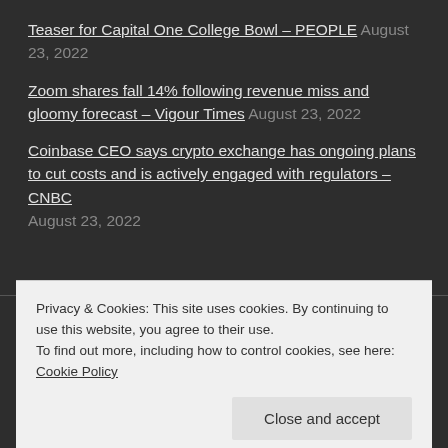Teaser for Capital One College Bowl – PEOPLE August 23, 2022
Zoom shares fall 14% following revenue miss and gloomy forecast – Vigour Times August 23, 2022
Coinbase CEO says crypto exchange has ongoing plans to cut costs and is actively engaged with regulators – CNBC August 23, 2022
Privacy & Cookies: This site uses cookies. By continuing to use this website, you agree to their use.
To find out more, including how to control cookies, see here: Cookie Policy
Close and accept